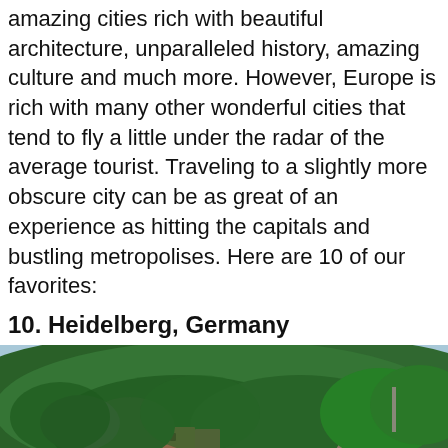amazing cities rich with beautiful architecture, unparalleled history, amazing culture and much more. However, Europe is rich with many other wonderful cities that tend to fly a little under the radar of the average tourist. Traveling to a slightly more obscure city can be as great of an experience as hitting the capitals and bustling metropolises. Here are 10 of our favorites:
10. Heidelberg, Germany
[Figure (photo): Aerial/panoramic view of Heidelberg, Germany, showing the old town with red-tiled rooftops, the Heidelberg Castle ruins on the forested hillside, a church tower (Heiliggeistkirche), and the Neckar River in the foreground. Dense green forested hills in the background.]